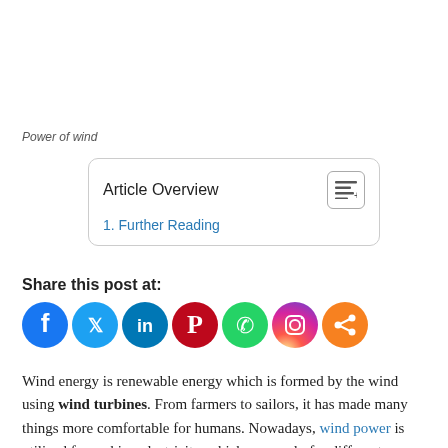Power of wind
Article Overview
1. Further Reading
Share this post at:
[Figure (other): Row of social media share icons: Facebook (blue), Twitter (light blue), LinkedIn (dark blue), Pinterest (red), WhatsApp (green), Instagram (gradient purple/pink/orange), Share (orange)]
Wind energy is renewable energy which is formed by the wind using wind turbines. From farmers to sailors, it has made many things more comfortable for humans. Nowadays, wind power is utilized for making electricity, which can apply for different purposes. This form of power